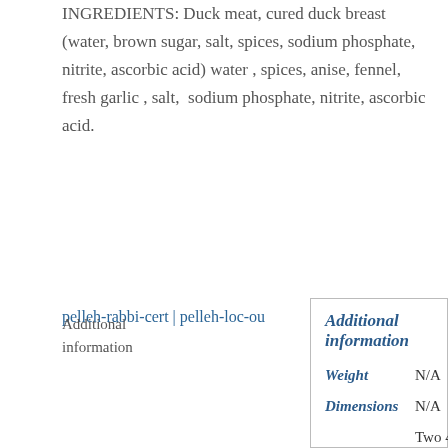INGREDIENTS: Duck meat, cured duck breast (water, brown sugar, salt, spices, sodium phosphate, nitrite, ascorbic acid) water , spices, anise, fennel, fresh garlic , salt,  sodium phosphate, nitrite, ascorbic acid.
pelleh-rabbi-cert | pelleh-loc-ou
Additional information
|  |  |
| --- | --- |
| Weight | N/A |
| Dimensions | N/A |
|  | Two 4 Link Packs, |